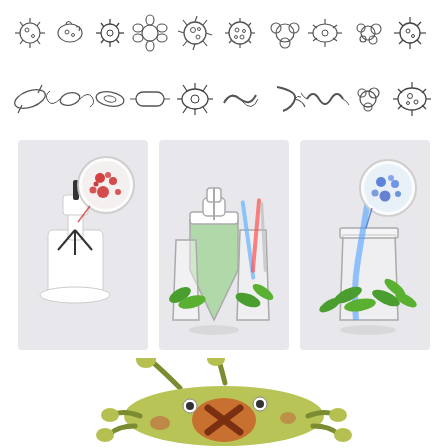[Figure (illustration): Row of hand-drawn microorganism/bacteria icons in dark gray outline style, showing various bacteria and virus shapes including round, elongated, spiky, and flagellated forms]
[Figure (illustration): Second row of hand-drawn microorganism/bacteria icons in dark gray outline style, showing additional bacteria shapes including rod-shaped, curved, spiral, and clustered forms]
[Figure (illustration): Three side-by-side science illustration panels: left panel shows a white microscope with a petri dish magnified showing red blood cells/bacteria; center panel shows laboratory glassware (Erlenmeyer flask with green liquid, beakers, test tubes) with green leaves; right panel shows a beaker with green leaves and a magnified blue petri dish above]
[Figure (illustration): Cartoon illustration of a large round yellow-green germ/microbe character with antennae, legs, spots, and a brown X mark on its body, viewed from above on white background]